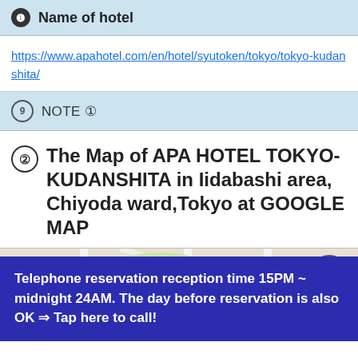❶ Name of hotel
https://www.apahotel.com/en/hotel/syutoken/tokyo/tokyo-kudanshita/
⑨ NOTE ①
② The Map of APA HOTEL TOKYO-KUDANSHITA in Iidabashi area, Chiyoda ward,Tokyo at GOOGLE MAP
[Figure (map): Google Map showing area around APA Hotel Tokyo-Kudanshita in Iidabashi area, Chiyoda ward. Map shows 後楽園 (Korakuen), Tokyo Dome, road 254, and partial street labels including 神楽坂毘沙門天 and Ochanomizu.]
Telephone reservation reception time 15PM ~ midnight 24AM. The day before reservation is also OK ⇒ Tap here to call!